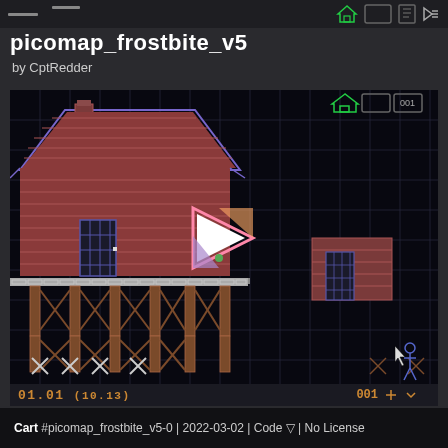picomap_frostbite_v5
by CptRedder
[Figure (screenshot): Pixel-art game map editor screenshot showing a dark grid with a cabin/house structure built from brown pixel tiles, with support pillars below. A play button triangle overlay is centered on the screen. The bottom status bar shows coordinates 01.01 (10.13) and 001. UI icons appear in the top right corner of the game view.]
01.01 (10.13)   001
Cart #picomap_frostbite_v5-0 | 2022-03-02 | Code ▽ | No License